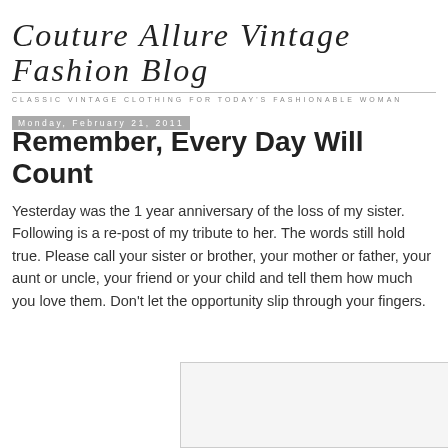Couture Allure Vintage Fashion Blog
CLASSIC VINTAGE CLOTHING FOR TODAY'S FASHIONABLE WOMAN
Monday, February 21, 2011
Remember, Every Day Will Count
Yesterday was the 1 year anniversary of the loss of my sister. Following is a re-post of my tribute to her. The words still hold true. Please call your sister or brother, your mother or father, your aunt or uncle, your friend or your child and tell them how much you love them. Don't let the opportunity slip through your fingers.
[Figure (photo): Partially visible image placeholder at bottom of page]